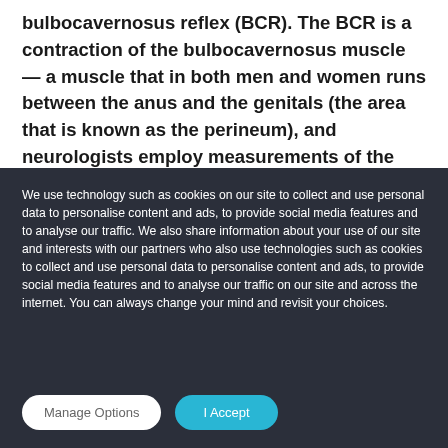bulbocavernosus reflex (BCR). The BCR is a contraction of the bulbocavernosus muscle — a muscle that in both men and women runs between the anus and the genitals (the area that is known as the perineum), and neurologists employ measurements of the BCR to diagnose underlying
We use technology such as cookies on our site to collect and use personal data to personalise content and ads, to provide social media features and to analyse our traffic. We also share information about your use of our site and interests with our partners who also use technologies such as cookies to collect and use personal data to personalise content and ads, to provide social media features and to analyse our traffic on our site and across the internet. You can always change your mind and revisit your choices.